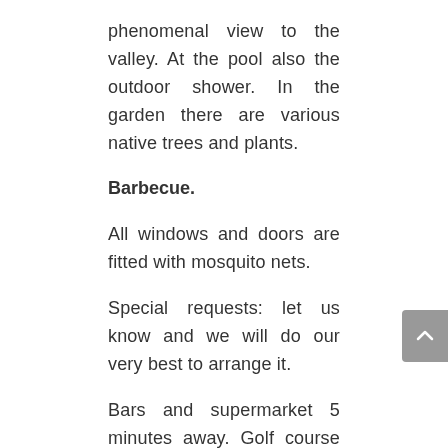phenomenal view to the valley. At the pool also the outdoor shower. In the garden there are various native trees and plants.
Barbecue.
All windows and doors are fitted with mosquito nets.
Special requests: let us know and we will do our very best to arrange it.
Bars and supermarket 5 minutes away. Golf course 30 minutes away. Swimming paradise 25 minutes away. Beach 30 minutes away.
Ideal holiday home for one or more families or for romantic or tranquility-seeking couples who